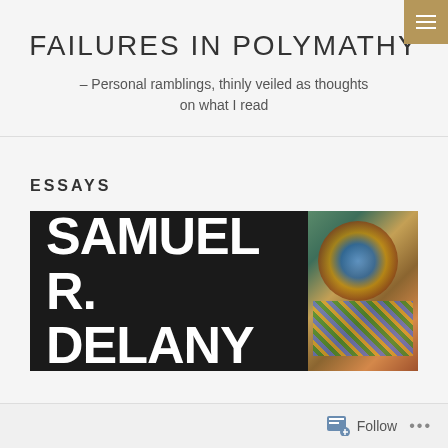FAILURES IN POLYMATHY
– Personal ramblings, thinly veiled as thoughts on what I read
ESSAYS
[Figure (photo): Book cover showing 'SAMUEL R. DELANY' in bold white text on black background, with colorful mosaic/butterfly artwork on the right side]
Follow ...